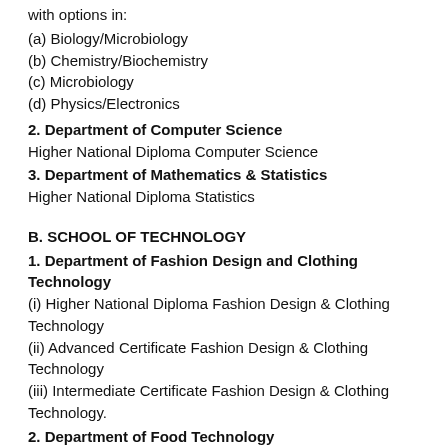with options in:
(a) Biology/Microbiology
(b) Chemistry/Biochemistry
(c) Microbiology
(d) Physics/Electronics
2. Department of Computer Science
Higher National Diploma Computer Science
3. Department of Mathematics & Statistics
Higher National Diploma Statistics
B. SCHOOL OF TECHNOLOGY
1. Department of Fashion Design and Clothing Technology
(i) Higher National Diploma Fashion Design & Clothing Technology
(ii) Advanced Certificate Fashion Design & Clothing Technology
(iii) Intermediate Certificate Fashion Design & Clothing Technology.
2. Department of Food Technology
Higher National Diploma Food Technology